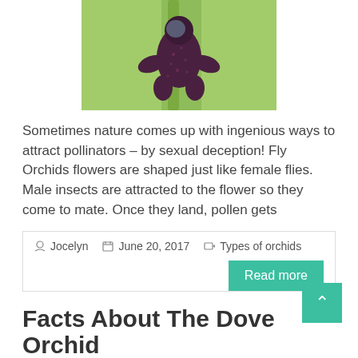[Figure (photo): Close-up photograph of a Fly Orchid flower against a green stem background. The flower resembles a small dark purple/maroon humanoid figure with fuzzy texture.]
Sometimes nature comes up with ingenious ways to attract pollinators – by sexual deception! Fly Orchids flowers are shaped just like female flies.  Male insects are attracted to the flower so they come to mate. Once they land, pollen gets
Jocelyn   June 20, 2017   Types of orchids
Read more
Facts About The Dove Orchid